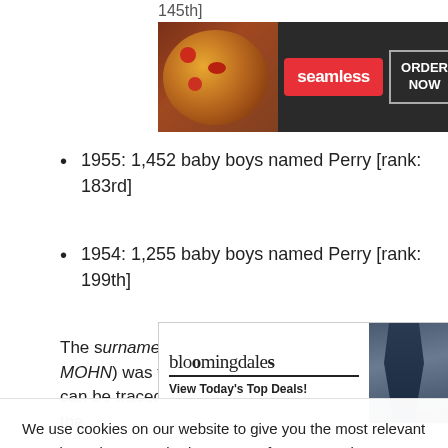145th]
[Figure (screenshot): Seamless food delivery advertisement banner with pizza photo, red Seamless logo, and 'ORDER NOW' button on dark background]
1955: 1,452 baby boys named Perry [rank: 183rd]
1954: 1,255 baby boys named Perry [rank: 199th]
[Figure (screenshot): Bloomingdale's advertisement with logo, 'View Today's Top Deals!' text, fashion model in hat, and 'SHOP NOW >' button]
The s[urname Addams (pronounced ADD-dah-MOHN) was the singer's mother's maiden name. It can be traced back to the personal name Adams, the...
We use cookies on our website to give you the most relevant experience by remembering your preferences and repeat visits. By clicking “Accept”, you consent to the use of ALL the cookies.
Do not sell my personal information.
[Figure (screenshot): Bloomingdale's advertisement at bottom with logo, 'View Today's Top Deals!' text, fashion model in hat, and 'SHOP NOW >' button]